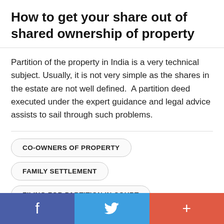How to get your share out of shared ownership of property
Partition of the property in India is a very technical subject. Usually, it is not very simple as the shares in the estate are not well defined.  A partition deed executed under the expert guidance and legal advice assists to sail through such problems.
CO-OWNERS OF PROPERTY
FAMILY SETTLEMENT
FILING FOR PARTITION IN COURT
JOINT PROPERTY
NRIHELP INFO
f  (twitter bird)  +